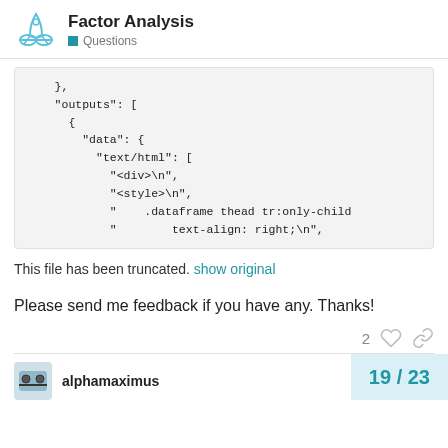Factor Analysis — Questions
},
"outputs": [
  {
    "data": {
      "text/html": [
        "<div>\n",
        "<style>\n",
        "    .dataframe thead tr:only-child
        "        text-align: right;\n",
This file has been truncated. show original
Please send me feedback if you have any. Thanks!
alphamaximus
19 / 23